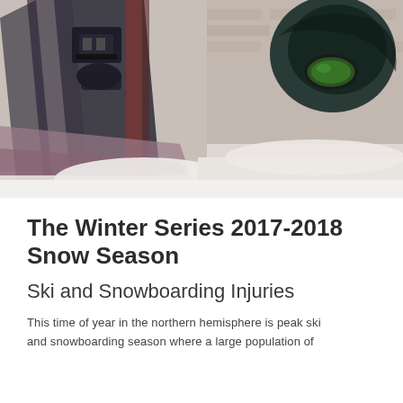[Figure (photo): Close-up photo of snowboarding equipment and boots in snowy winter conditions, showing bindings and board details with snow and wooden structures visible.]
The Winter Series 2017-2018 Snow Season
Ski and Snowboarding Injuries
This time of year in the northern hemisphere is peak ski and snowboarding season where a large population of